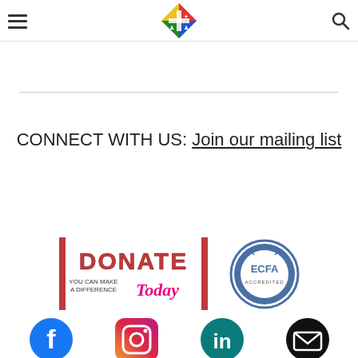Navigation bar with hamburger menu, logo, and search icon
CONNECT WITH US: Join our mailing list
[Figure (logo): Donate Today - You Can Make A Difference banner logo with red and pink text and vertical bar borders]
[Figure (logo): ECFA Accredited circular seal logo in blue and grey]
[Figure (logo): Facebook, Instagram, LinkedIn, and Email social media icons at bottom of page]